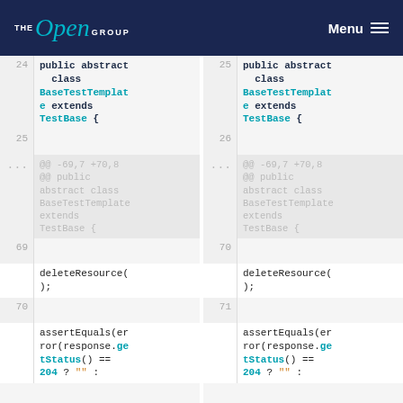The Open Group | Menu
[Figure (screenshot): Side-by-side code diff view showing two columns of Java code. Left column (old) and right column (new) both show 'public abstract class BaseTestTemplate extends TestBase {' at lines 24-25, a hunk header at line ..., and 'deleteResource();' at line 69/70, then 'assertEquals(error(response.getStatus() == 204 ? "" :' at line 70/71.]